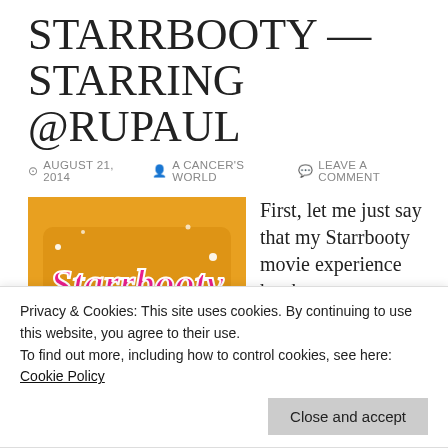STARRBOOTY — STARRING @RUPAUL
AUGUST 21, 2014   A CANCER'S WORLD   LEAVE A COMMENT
[Figure (photo): Movie poster for Starrbooty featuring a drag performer with a large white wig and the sparkly pink Starrbooty logo]
First, let me just say that my Starrbooty movie experience has been an adventure in the making. Back when this girl was a barely legal, college radio DJ on the graveyard shift at
ended up finding the album
Privacy & Cookies: This site uses cookies. By continuing to use this website, you agree to their use.
To find out more, including how to control cookies, see here: Cookie Policy
Close and accept